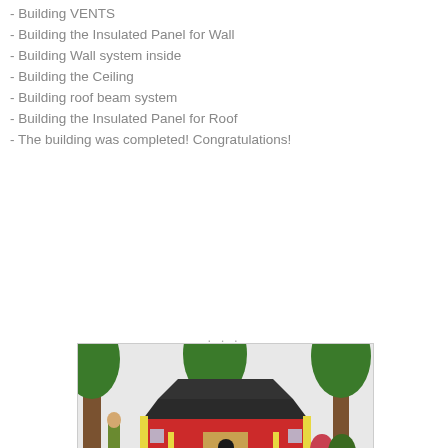- Building VENTS
- Building the Insulated Panel for Wall
- Building Wall system inside
- Building the Ceiling
- Building roof beam system
- Building the Insulated Panel for Roof
- The building was completed! Congratulations!
[Figure (illustration): Perspective rendering of a large dog house with red walls, yellow trim, dark roof, palm trees, a man with a dog standing to the left, and a woman standing in the doorway. Label says PERSPECTIVE and shows a website URL.]
[Figure (illustration): Partial view of a second dog house plan illustration, cropped at bottom of page, showing palm trees and dark roof.]